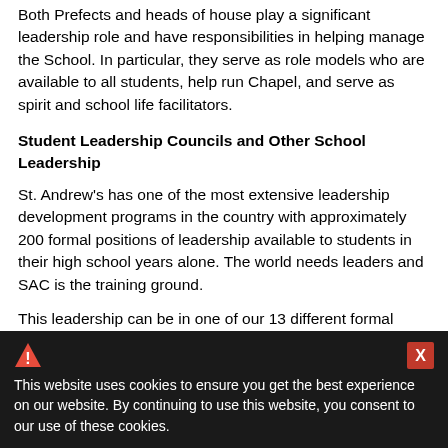Both Prefects and heads of house play a significant leadership role and have responsibilities in helping manage the School. In particular, they serve as role models who are available to all students, help run Chapel, and serve as spirit and school life facilitators.
Student Leadership Councils and Other School Leadership
St. Andrew's has one of the most extensive leadership development programs in the country with approximately 200 formal positions of leadership available to students in their high school years alone. The world needs leaders and SAC is the training ground.
This leadership can be in one of our 13 different formal student leadership councils focused on student life, arts and culture, philanthropy and community service, character development, school service, or residential life. To earn these positions,
This website uses cookies to ensure you get the best experience on our website. By continuing to use this website, you consent to our use of these cookies.